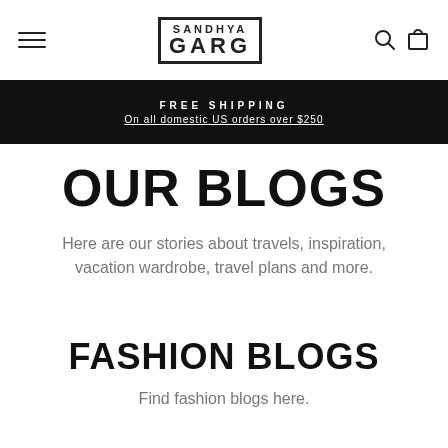SANDHYA GARG — navigation header with hamburger menu, logo, search and cart icons
FREE SHIPPING
On all domestic US orders over $250
OUR BLOGS
Here are our stories about travels, inspiration, vacation wardrobe, travel plans and more.
FASHION BLOGS
Find fashion blogs here.